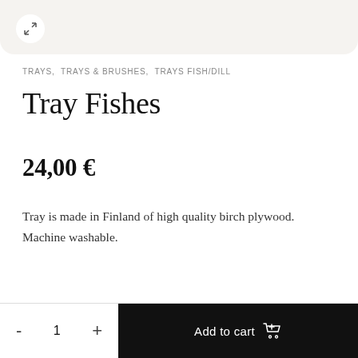[Figure (photo): Partial view of a cream/beige wooden tray product image at top of page, with an expand/zoom icon button in top-left corner]
TRAYS,  TRAYS & BRUSHES,  TRAYS FISH/DILL
Tray Fishes
24,00 €
Tray is made in Finland of high quality birch plywood. Machine washable.
- 1 +  Add to cart